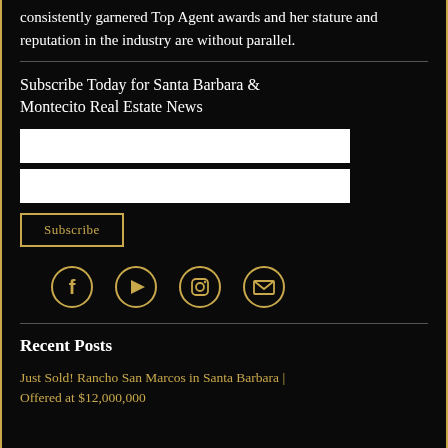consistently garnered Top Agent awards and her stature and reputation in the industry are without parallel.
Subscribe Today for Santa Barbara & Montecito Real Estate News
[Figure (other): Web form with two white input fields and a Subscribe button outlined in gold]
[Figure (other): Four social media icons in gold circles: Facebook, YouTube, Instagram, Email]
Recent Posts
Just Sold! Rancho San Marcos in Santa Barbara | Offered at $12,000,000